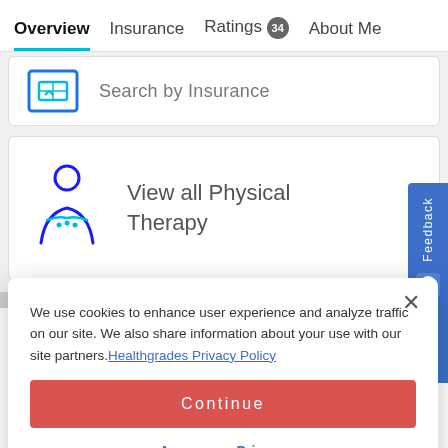Overview | Insurance | Ratings 34 | About Me
Search by Insurance
View all Physical Therapy
[Figure (screenshot): Feedback tab on the right side with chat icon]
We use cookies to enhance user experience and analyze traffic on our site. We also share information about your use with our site partners. Healthgrades Privacy Policy
Continue
Access my Privacy Preferences
Trustworthy